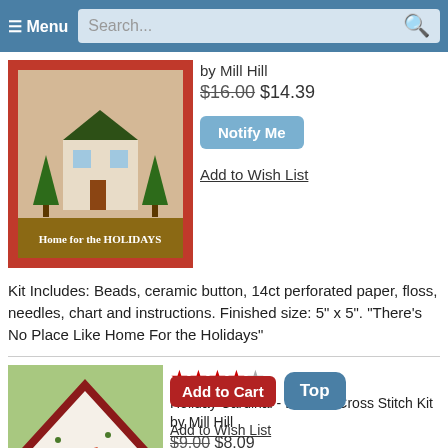≡ Menu  Search...
by Mill Hill
$16.00 $14.39
Notify Me
Add to Wish List
Kit Includes: Beads, ceramic button, 14ct perforated paper, floss, needles, chart and instructions. Finished size: 5" x 5". "There's No Place Like Home For the Holidays"
[Figure (photo): Cross stitch kit showing a house with trees and text 'Home for the Holidays' in a red frame]
[Figure (photo): Beaded cross stitch ornament showing a cardinal bird on a diamond-shaped piece hanging from a tassel, with greenery in background]
★★★★☆ Holiday Cardinal - Beaded Cross Stitch Kit by Mill Hill
$9.00 $8.09
Add to Cart
Top
Add to Wish List